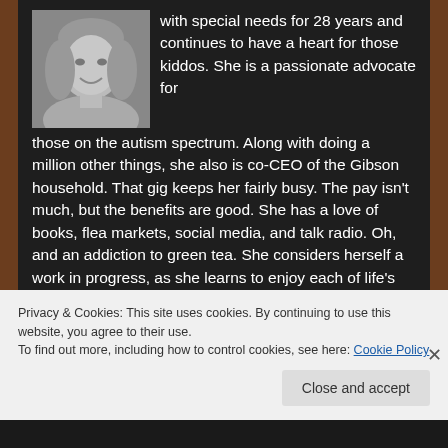[Figure (photo): Black and white headshot of a smiling woman with shoulder-length hair]
with special needs for 28 years and continues to have a heart for those kiddos. She is a passionate advocate for those on the autism spectrum. Along with doing a million other things, she also is co-CEO of the Gibson household. That gig keeps her fairly busy. The pay isn't much, but the benefits are good. She has a love of books, flea markets, social media, and talk radio. Oh, and an addiction to green tea. She considers herself a work in progress, as she learns to enjoy each of life's
Privacy & Cookies: This site uses cookies. By continuing to use this website, you agree to their use.
To find out more, including how to control cookies, see here: Cookie Policy
Close and accept